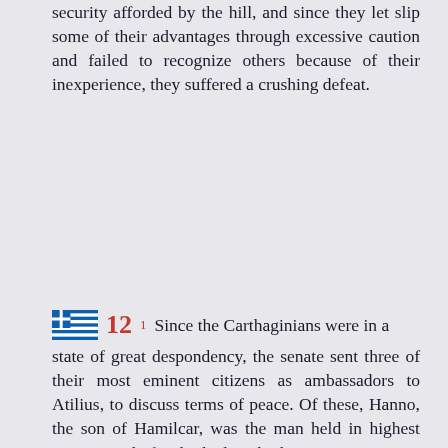security afforded by the hill, and since they let slip some of their advantages through excessive caution and failed to recognize others because of their inexperience, they suffered a crushing defeat.
12 1 Since the Carthaginians were in a state of great despondency, the senate sent three of their most eminent citizens as ambassadors to Atilius, to discuss terms of peace. Of these, Hanno, the son of Hamilcar, was the man held in highest esteem, and after he had said what was appropriate to the occasion, he urged the consul to treat them with moderation and in manner worthy of Rome. Atilius, however, since he was elated by his success and took no account of the vicissitudes of human fortune, dictated terms of such scope and nature that the peace